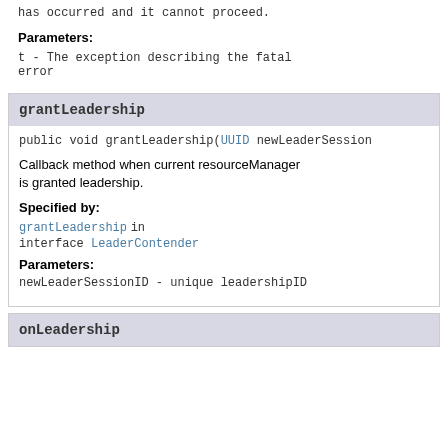has occurred and it cannot proceed.
Parameters:
t - The exception describing the fatal error
grantLeadership
public void grantLeadership(UUID newLeaderSessionID)
Callback method when current resourceManager is granted leadership.
Specified by:
grantLeadership in interface LeaderContender
Parameters:
newLeaderSessionID - unique leadershipID
onLeadership